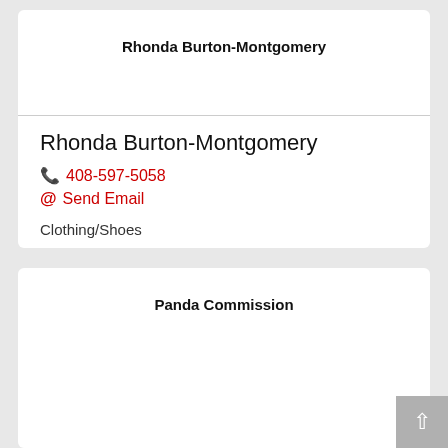Rhonda Burton-Montgomery
Rhonda Burton-Montgomery
📞 408-597-5058
@ Send Email
Clothing/Shoes
Panda Commission